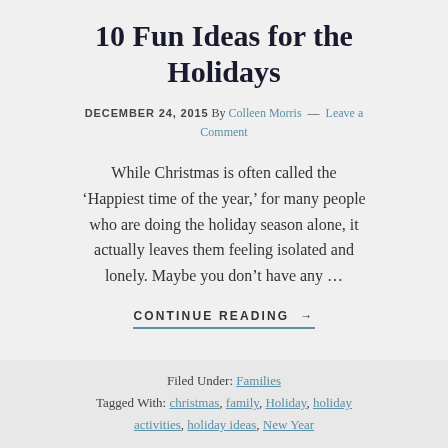10 Fun Ideas for the Holidays
DECEMBER 24, 2015 By Colleen Morris — Leave a Comment
While Christmas is often called the ‘Happiest time of the year,’ for many people who are doing the holiday season alone, it actually leaves them feeling isolated and lonely. Maybe you don’t have any …
CONTINUE READING →
Filed Under: Families
Tagged With: christmas, family, Holiday, holiday activities, holiday ideas, New Year